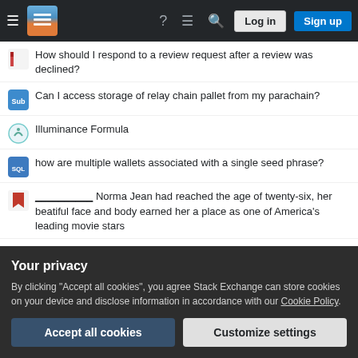Stack Exchange navigation bar with Log in and Sign up buttons
How should I respond to a review request after a review was declined?
Can I access storage of relay chain pallet from my parachain?
Illuminance Formula
how are multiple wallets associated with a single seed phrase?
__________ Norma Jean had reached the age of twenty-six, her beatiful face and body earned her a place as one of America's leading movie stars
Techniques for MNAR without Imputation
US B1/B2 Visa validity for re-use
If Aluminum was non-reactive, could there have been an "Aluminum...
Your privacy
By clicking "Accept all cookies", you agree Stack Exchange can store cookies on your device and disclose information in accordance with our Cookie Policy.
Villamize | demonize a thing | abstract object